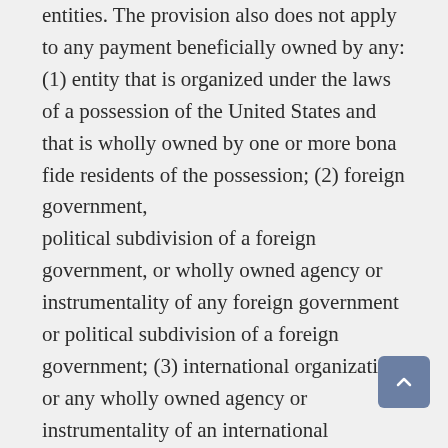entities. The provision also does not apply to any payment beneficially owned by any: (1) entity that is organized under the laws of a possession of the United States and that is wholly owned by one or more bona fide residents of the possession; (2) foreign government, political subdivision of a foreign government, or wholly owned agency or instrumentality of any foreign government or political subdivision of a foreign government; (3) international organization or any wholly owned agency or instrumentality of an international organization; (4) foreign central bank of issue; (5) any other class